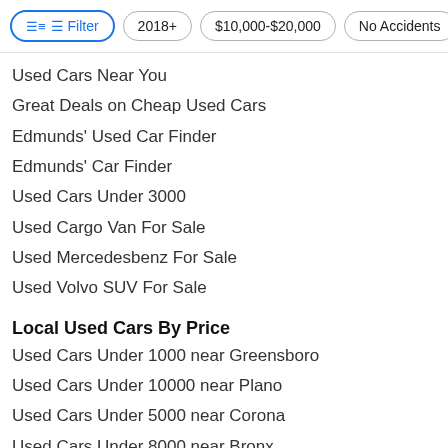Filter | 2018+ | $10,000-$20,000 | No Accidents >
Used Cars Near You
Great Deals on Cheap Used Cars
Edmunds' Used Car Finder
Edmunds' Car Finder
Used Cars Under 3000
Used Cargo Van For Sale
Used Mercedesbenz For Sale
Used Volvo SUV For Sale
Local Used Cars By Price
Used Cars Under 1000 near Greensboro
Used Cars Under 10000 near Plano
Used Cars Under 5000 near Corona
Used Cars Under 8000 near Bronx
Used Cars Under 5000 near York
Used Cars Under 4000 near Houston
Used Cars Under 3000 near Chicago